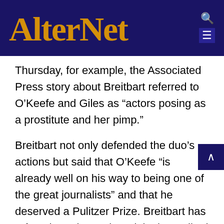AlterNet
Thursday, for example, the Associated Press story about Breitbart referred to O’Keefe and Giles as “actors posing as a prostitute and her pimp.”
Breitbart not only defended the duo’s actions but said that O’Keefe “is already well on his way to being one of the great journalists” and that he deserved a Pulitzer Prize. Breitbart has refused to release the original, unedited videos to any of the organizations investigating the ACORN controversy.